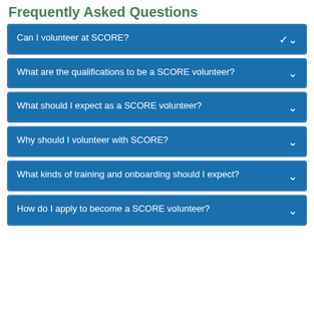Frequently Asked Questions
Can I volunteer at SCORE?
What are the qualifications to be a SCORE volunteer?
What should I expect as a SCORE volunteer?
Why should I volunteer with SCORE?
What kinds of training and onboarding should I expect?
How do I apply to become a SCORE volunteer?